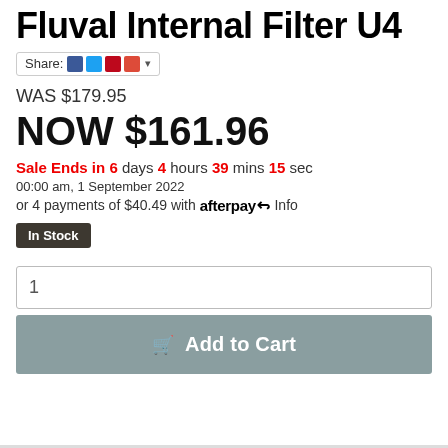Fluval Internal Filter U4
Share:
WAS $179.95
NOW $161.96
Sale Ends in 6 days 4 hours 39 mins 15 sec
00:00 am, 1 September 2022
or 4 payments of $40.49 with afterpay Info
In Stock
1
Add to Cart